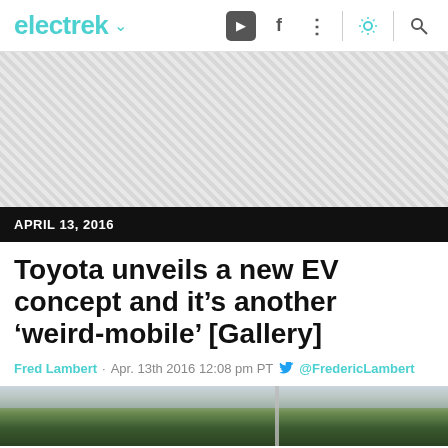electrek
[Figure (other): Advertisement banner with diagonal stripe pattern]
APRIL 13, 2016
Toyota unveils a new EV concept and it's another 'weird-mobile' [Gallery]
Fred Lambert · Apr. 13th 2016 12:08 pm PT @FredericLambert
[Figure (photo): Bottom strip showing outdoor nature scene with trees and a pole]